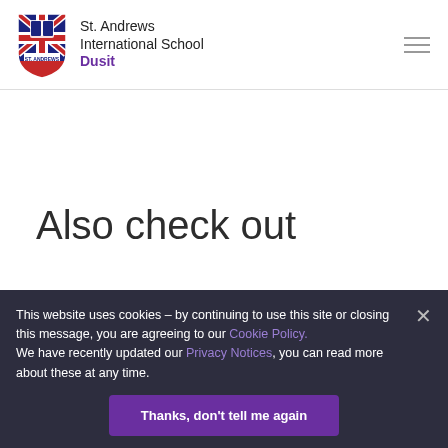[Figure (logo): St. Andrews International School Dusit shield logo with Union Jack and book]
St. Andrews International School Dusit
Also check out
This website uses cookies – by continuing to use this site or closing this message, you are agreeing to our Cookie Policy. We have recently updated our Privacy Notices, you can read more about these at any time.
Thanks, don't tell me again